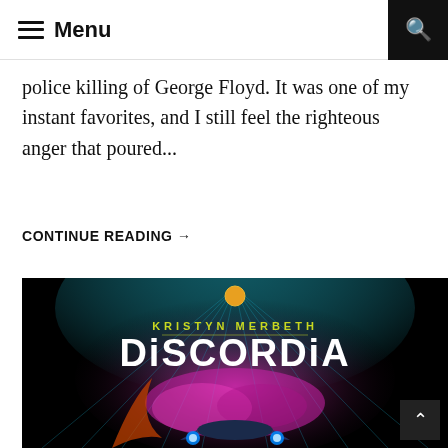≡ Menu
police killing of George Floyd. It was one of my instant favorites, and I still feel the righteous anger that poured...
CONTINUE READING →
[Figure (illustration): Book cover for 'Discordia' by Kristyn Merbeth. Dark background with neon pink and blue sci-fi imagery including a spaceship and glowing effects. Author name 'KRISTYN MERBETH' in yellow text and title 'DiSCORDiA' in large white bold text.]